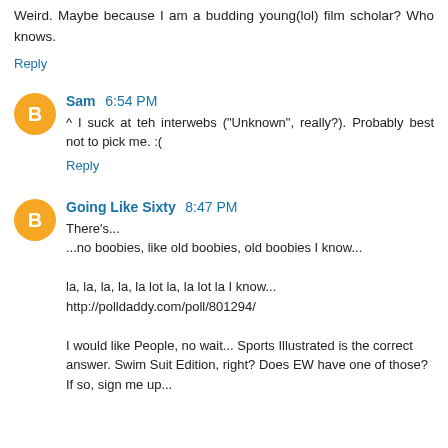Weird. Maybe because I am a budding young(lol) film scholar? Who knows.
Reply
Sam 6:54 PM
^ I suck at teh interwebs ("Unknown", really?). Probably best not to pick me. :(
Reply
Going Like Sixty 8:47 PM
There's...
...no boobies, like old boobies, old boobies I know...

la, la, la, la, la lot la, la lot la I know...
http://polldaddy.com/poll/801294/

I would like People, no wait... Sports Illustrated is the correct answer. Swim Suit Edition, right? Does EW have one of those? If so, sign me up...